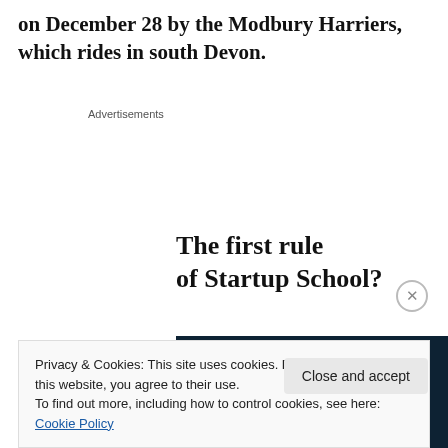on December 28 by the Modbury Harriers, which rides in south Devon.
Advertisements
[Figure (infographic): Advertisement: 'The first rule of Startup School?' headline with a dark navy banner reading 'Ask questions.' below it, and a red/orange strip at the bottom.]
Privacy & Cookies: This site uses cookies. By continuing to use this website, you agree to their use.
To find out more, including how to control cookies, see here: Cookie Policy
Close and accept